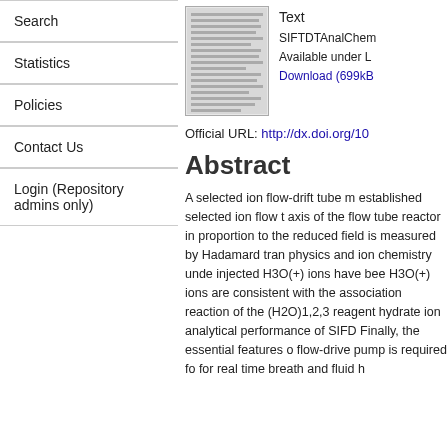Search
Statistics
Policies
Contact Us
Login (Repository admins only)
[Figure (screenshot): Thumbnail preview of a text document page]
Text
SIFTDTAnalChem
Available under L
Download (699kB
Official URL: http://dx.doi.org/10...
Abstract
A selected ion flow-drift tube m established selected ion flow t axis of the flow tube reactor in proportion to the reduced field is measured by Hadamard tran physics and ion chemistry unde injected H3O(+) ions have bee H3O(+) ions are consistent with the association reaction of the (H2O)1,2,3 reagent hydrate ion analytical performance of SIFD Finally, the essential features o flow-drive pump is required fo for real time breath and fluid h